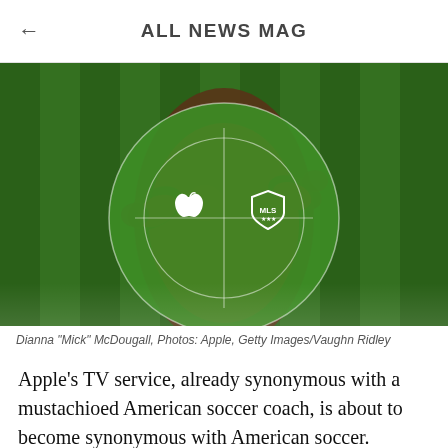ALL NEWS MAG
[Figure (photo): Soccer player in red uniform with Apple and MLS logos overlaid on a green soccer field background]
Dianna "Mick" McDougall, Photos: Apple, Getty Images/Vaughn Ridley
Apple's TV service, already synonymous with a mustachioed American soccer coach, is about to become synonymous with American soccer.